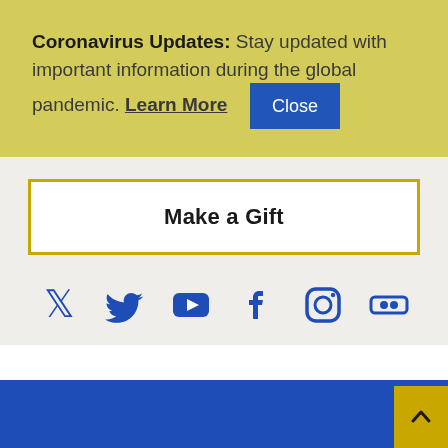Coronavirus Updates: Stay updated with important information during the global pandemic. Learn More [Close button]
Make a Gift
[Figure (other): Social media icons row: Twitter, YouTube, Facebook, Instagram, Flickr]
Blue footer bar with Back to Top arrow button